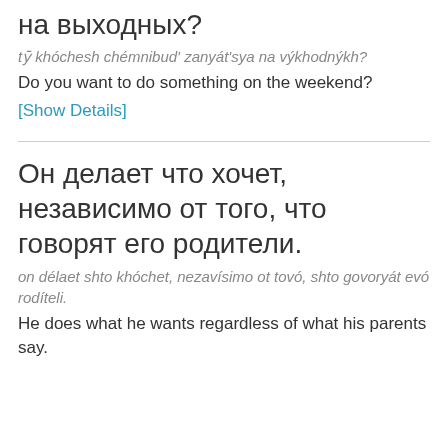на выходных?
tȳ khóchesh chémnibud' zanyát'sya na výkhodnýkh?
Do you want to do something on the weekend?
[Show Details]
Он делает что хочет, независимо от того, что говорят его родители.
on délaet shto khóchet, nezavísimo ot tovó, shto govoryát evó rodíteli.
He does what he wants regardless of what his parents say.